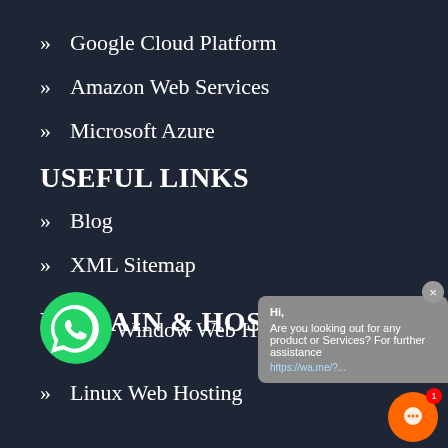» Google Cloud Platform
» Amazon Web Services
» Microsoft Azure
USEFUL LINKS
» Blog
» XML Sitemap
DOMAIN & HOSTING
Window Web Hosting
» Linux Web Hosting
[Figure (screenshot): Chat popup with message: Hi, Are you looking out for any product or Services? For further assistance https://wa.me/?...]
[Figure (logo): WhatsApp icon green circle with phone handset]
[Figure (other): Orange chat icon button with notification badge showing 1]